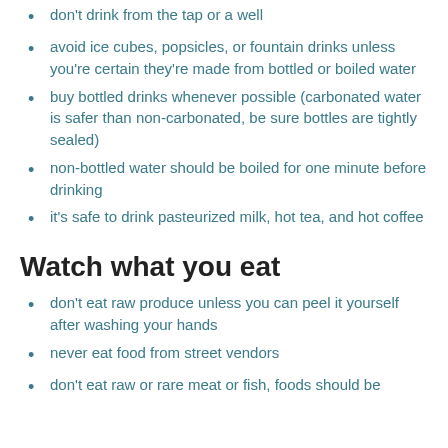don't drink from the tap or a well
avoid ice cubes, popsicles, or fountain drinks unless you're certain they're made from bottled or boiled water
buy bottled drinks whenever possible (carbonated water is safer than non-carbonated, be sure bottles are tightly sealed)
non-bottled water should be boiled for one minute before drinking
it's safe to drink pasteurized milk, hot tea, and hot coffee
Watch what you eat
don't eat raw produce unless you can peel it yourself after washing your hands
never eat food from street vendors
don't eat raw or rare meat or fish, foods should be